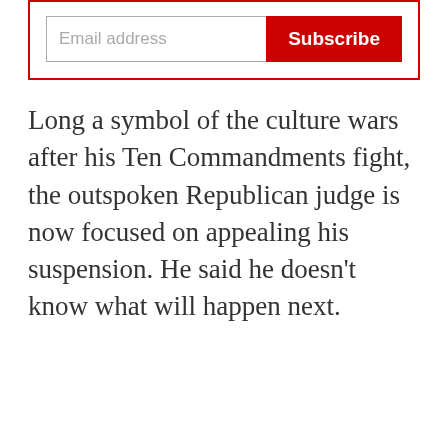[Figure (other): Email subscription box with a text input labeled 'Email address' and a red 'Subscribe' button, enclosed in a red border]
Long a symbol of the culture wars after his Ten Commandments fight, the outspoken Republican judge is now focused on appealing his suspension. He said he doesn't know what will happen next.